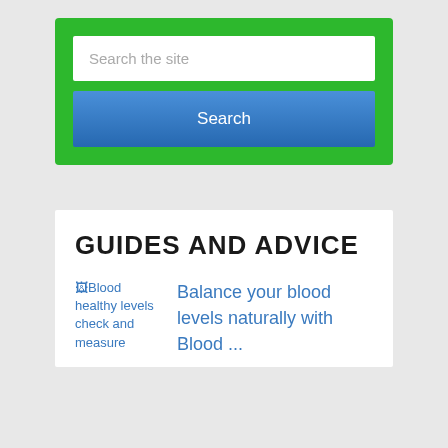[Figure (screenshot): Search bar widget with green background, white text input field placeholder 'Search the site', and a blue Search button below]
GUIDES AND ADVICE
[Figure (photo): Broken image placeholder with alt text: Blood healthy levels check and measure]
Balance your blood levels naturally with Blood ...